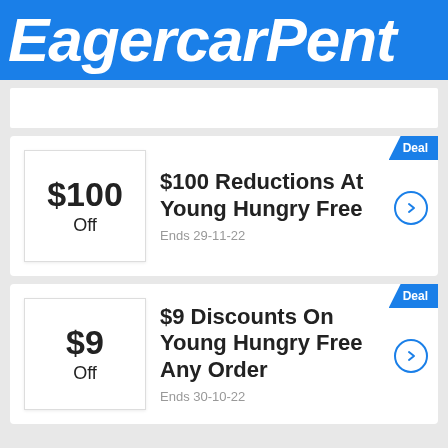EagercarPent
[Figure (other): Deal card: $100 Off coupon with text '$100 Reductions At Young Hungry Free', Ends 29-11-22]
[Figure (other): Deal card: $9 Off coupon with text '$9 Discounts On Young Hungry Free Any Order', Ends 30-10-22]